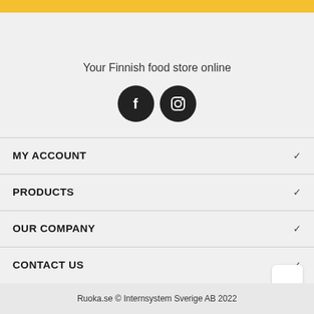Your Finnish food store online
[Figure (illustration): Two social media icons: Facebook (f) and Instagram (camera) as white icons on dark circular backgrounds]
MY ACCOUNT
PRODUCTS
OUR COMPANY
CONTACT US
Ruoka.se © Internsystem Sverige AB 2022